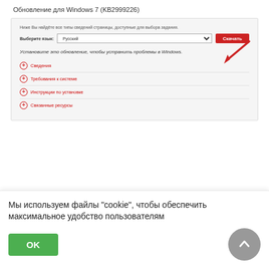[Figure (screenshot): Screenshot of Microsoft Update page for KB2999226 - Windows 7 update. Shows a language selection dropdown with a red 'Скачать' (Download) button, a red arrow pointing to it, descriptive text in Russian, and expandable sections (Сведения, Требования к системе, Инструкции по установке, Связанные ресурсы).]
Установка обновления kb2999226
Нытал далее
Мы используем файлы "cookie", чтобы обеспечить максимальное удобство пользователям